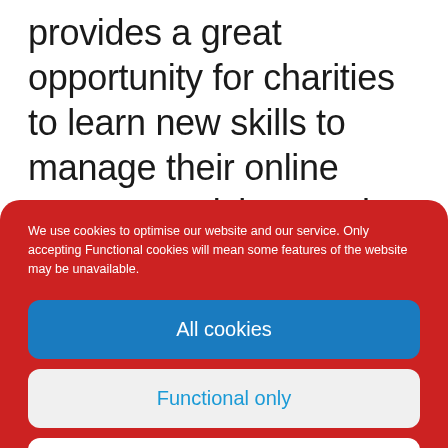provides a great opportunity for charities to learn new skills to manage their online presence, giving a voice to communities and inspiring more people to make a
We use cookies to optimise our website and our service. Only accepting Functional cookies will mean some features of the website may be unavailable.
All cookies
Functional only
View preferences
Cookie policy